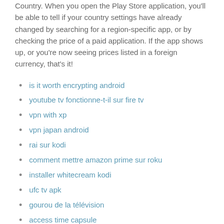Country. When you open the Play Store application, you'll be able to tell if your country settings have already changed by searching for a region-specific app, or by checking the price of a paid application. If the app shows up, or you're now seeing prices listed in a foreign currency, that's it!
is it worth encrypting android
youtube tv fonctionne-t-il sur fire tv
vpn with xp
vpn japan android
rai sur kodi
comment mettre amazon prime sur roku
installer whitecream kodi
ufc tv apk
gourou de la télévision
access time capsule
applications de télévision incendie gratuites
sur quel canal les grammys arrivent